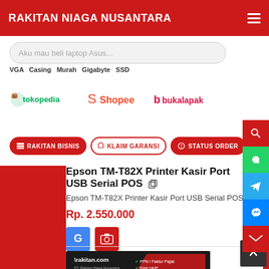RAKITAN NIAGA NUSANTARA
Aku mau beli laptop Asus...
VGA Casing Murah Gigabyte SSD
[Figure (logo): Tokopedia, Shopee, and Bukalapak marketplace logos]
RAKITAN BISNIS | KLAIM GARANSI | STATUS ORDER
Epson TM-T82X Printer Kasir Port USB Serial POS
Epson TM-T82X Printer Kasir Port USB Serial POS
Rp. 2.550.000
[Figure (screenshot): rakitan.com banner with PPN/Faktur Pajak, Free Ixkit, Garansi Resmi checkmarks]